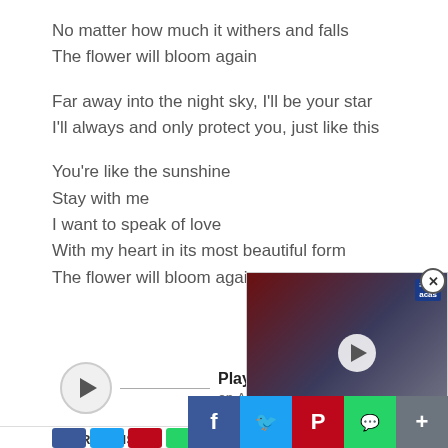No matter how much it withers and falls
The flower will bloom again
Far away into the night sky, I'll be your star
I'll always and only protect you, just like this
You're like the sunshine
Stay with me
I want to speak of love
With my heart in its most beautiful form
The flower will bloom again
Play "Spider Li...
on Apple ...
[Figure (screenshot): Video popup showing two people at an event, with Japanese caption text about Robert De Niro in a new gang film]
SHARE THIS: